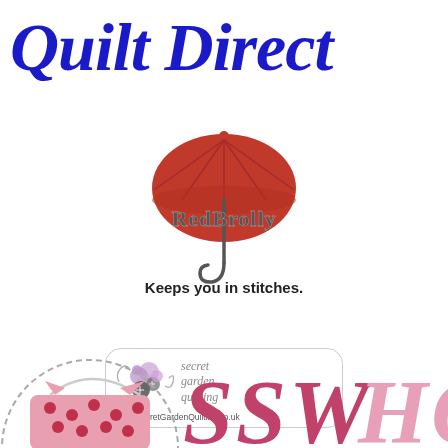[Figure (logo): Quilt Direct brand name in bold blue italic serif font]
[Figure (logo): RedBrolly logo: red umbrella graphic above stylized text 'RedBrolly' with umbrella handle, tagline 'Keeps you in stitches.']
[Figure (logo): Secret Garden Quilting logo: decorative floral cluster with text 'secret garden quilting' and URL www.SecretGardenQuilting.co.uk in a rounded rectangle border]
[Figure (logo): Partial sewing basket logo with pink polka dot design (bottom left) and partial pink italic text 'SSW HOT' (bottom right), partially cropped]